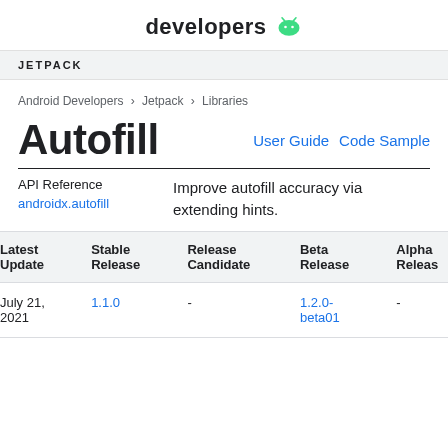developers
JETPACK
Android Developers > Jetpack > Libraries
Autofill
User Guide  Code Sample
API Reference
androidx.autofill
Improve autofill accuracy via extending hints.
| Latest Update | Stable Release | Release Candidate | Beta Release | Alpha Release |
| --- | --- | --- | --- | --- |
| July 21, 2021 | 1.1.0 | - | 1.2.0-beta01 | - |